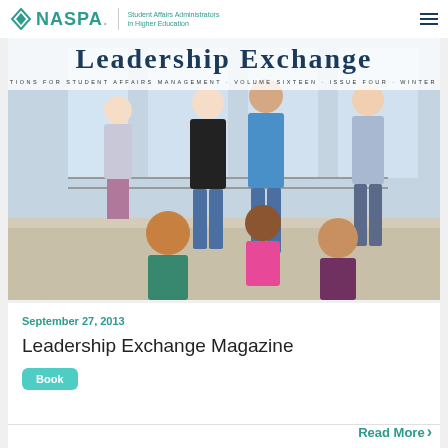NASPA Student Affairs Administrators in Higher Education
[Figure (photo): Cover of Leadership Exchange Magazine showing college students gathered on stairs in a modern building. Overlay text reads: Leadership Exchange, Solutions for Student Affairs Management, Volume Sixteen, Issue Four, Winter 2019]
September 27, 2013
Leadership Exchange Magazine
Book
Read More